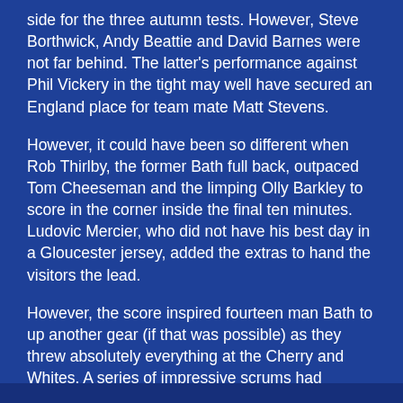side for the three autumn tests. However, Steve Borthwick, Andy Beattie and David Barnes were not far behind. The latter's performance against Phil Vickery in the tight may well have secured an England place for team mate Matt Stevens.
However, it could have been so different when Rob Thirlby, the former Bath full back, outpaced Tom Cheeseman and the limping Olly Barkley to score in the corner inside the final ten minutes. Ludovic Mercier, who did not have his best day in a Gloucester jersey, added the extras to hand the visitors the lead.
However, the score inspired fourteen man Bath to up another gear (if that was possible) as they threw absolutely everything at the Cherry and Whites. A series of impressive scrums had Gloucester on the back foot before the tempo suddenly went off the scale as the game opened right up. It was difficult to know where to look at this stage. Indeed, some in the 10,500 capacity crowd barely could.